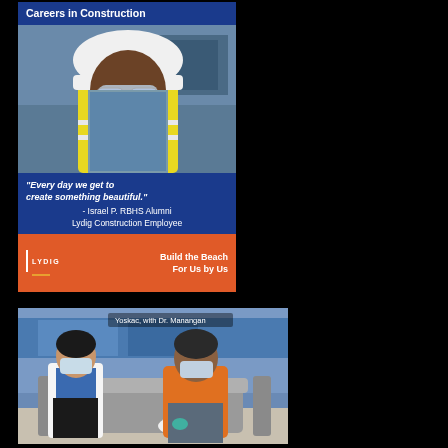[Figure (infographic): Lydig Construction recruitment poster for High School students: Careers in Construction. Features a young man in a hard hat and safety vest, with a quote 'Every day we get to create something beautiful.' attributed to Israel P., RBHS Alumni, Lydig Construction Employee. Footer reads 'Build the Beach For Us by Us' with the Lydig logo.]
[Figure (photo): Photo of two people wearing masks sitting on a couch having a conversation, labeled 'Yoskac, with Dr. Manangan'. One person appears to be a medical professional in a white coat, the other in an orange hoodie.]